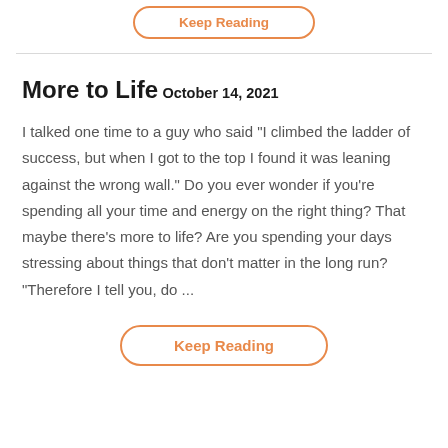Keep Reading
More to Life
October 14, 2021
I talked one time to a guy who said "I climbed the ladder of success, but when I got to the top I found it was leaning against the wrong wall." Do you ever wonder if you're spending all your time and energy on the right thing? That maybe there's more to life? Are you spending your days stressing about things that don't matter in the long run? "Therefore I tell you, do ...
Keep Reading